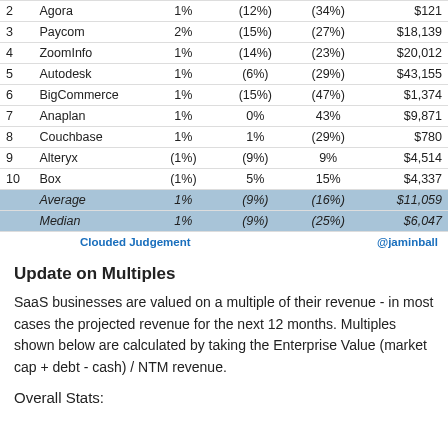| # | Company | Col3 | Col4 | Col5 | Market Cap |
| --- | --- | --- | --- | --- | --- |
| 2 | Agora | 1% | (12%) | (34%) | $121 |
| 3 | Paycom | 2% | (15%) | (27%) | $18,139 |
| 4 | ZoomInfo | 1% | (14%) | (23%) | $20,012 |
| 5 | Autodesk | 1% | (6%) | (29%) | $43,155 |
| 6 | BigCommerce | 1% | (15%) | (47%) | $1,374 |
| 7 | Anaplan | 1% | 0% | 43% | $9,871 |
| 8 | Couchbase | 1% | 1% | (29%) | $780 |
| 9 | Alteryx | (1%) | (9%) | 9% | $4,514 |
| 10 | Box | (1%) | 5% | 15% | $4,337 |
|  | Average | 1% | (9%) | (16%) | $11,059 |
|  | Median | 1% | (9%) | (25%) | $6,047 |
Clouded Judgement   @jaminball
Update on Multiples
SaaS businesses are valued on a multiple of their revenue - in most cases the projected revenue for the next 12 months. Multiples shown below are calculated by taking the Enterprise Value (market cap + debt - cash) / NTM revenue.
Overall Stats: